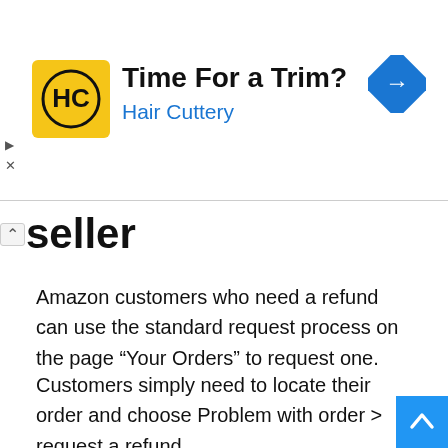[Figure (infographic): Hair Cuttery advertisement banner with logo, text 'Time For a Trim?' and 'Hair Cuttery', and a navigation arrow icon]
seller
Amazon customers who need a refund can use the standard request process on the page “Your Orders” to request one.
Customers simply need to locate their order and choose Problem with order > request a refund.
Amazon will review refund requests within one week. Refund requests from third-party sellers will be reviewed within a week.